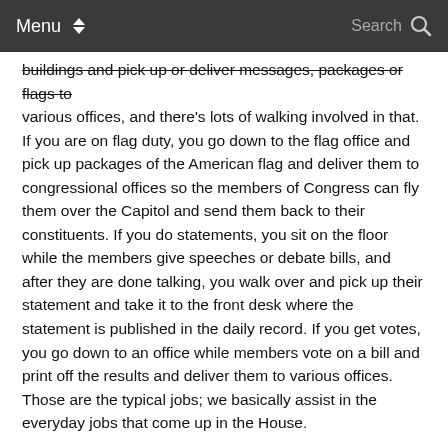Menu  Search
buildings and pick up or deliver messages, packages or flags to various offices, and there's lots of walking involved in that. If you are on flag duty, you go down to the flag office and pick up packages of the American flag and deliver them to congressional offices so the members of Congress can fly them over the Capitol and send them back to their constituents. If you do statements, you sit on the floor while the members give speeches or debate bills, and after they are done talking, you walk over and pick up their statement and take it to the front desk where the statement is published in the daily record. If you get votes, you go down to an office while members vote on a bill and print off the results and deliver them to various offices. Those are the typical jobs; we basically assist in the everyday jobs that come up in the House.
Q: How is school in D.C.?
A: The page school is a lot different than CF. I feel like the school is more modeled after a college because the tests are only in essay format with rarely any multiple choice, so it's something I've had to